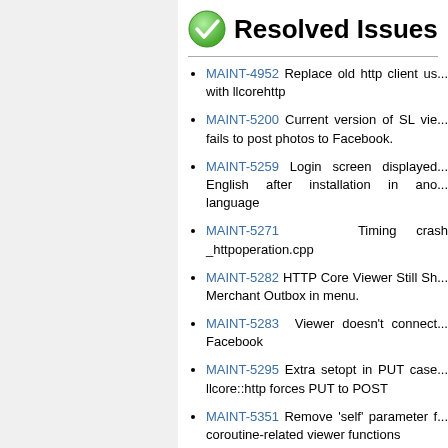Resolved Issues
MAINT-4952 Replace old http client us... with llcorehttp
MAINT-5200 Current version of SL vie... fails to post photos to Facebook.
MAINT-5259 Login screen displayed... English after installation in ano... language
MAINT-5271 Timing crash _httpoperation.cpp
MAINT-5282 HTTP Core Viewer Still Sh... Merchant Outbox in menu.
MAINT-5283 Viewer doesn't connect... Facebook
MAINT-5295 Extra setopt in PUT case... llcore::http forces PUT to POST
MAINT-5351 Remove 'self' parameter f... coroutine-related viewer functions
MAINT-5614 Login screen is black...